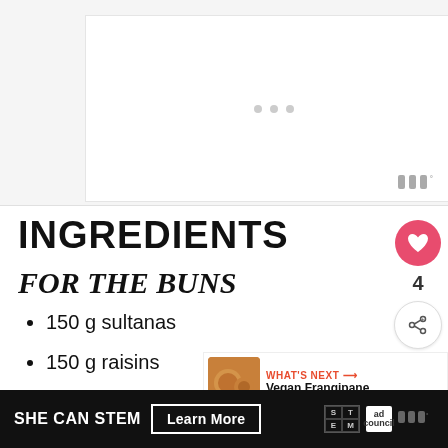[Figure (other): Advertisement banner placeholder with three grey dots in center and a grey watermark icon in bottom right]
INGREDIENTS
FOR THE BUNS
150 g sultanas
150 g raisins
45 ml dark rum
SHE CAN STEM   Learn More